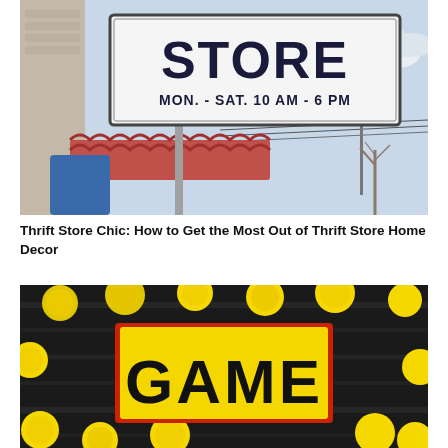[Figure (photo): Photograph of a thrift store exterior sign reading 'STORE' with hours 'MON. - SAT. 10 AM - 6 PM', against a cloudy sky with a red-tiled roof and bare trees visible.]
Thrift Store Chic: How to Get the Most Out of Thrift Store Home Decor
[Figure (photo): Photograph of crumpled yellow paper balls scattered on a dark wooden surface with a yellow sticky note sign bordered in red reading 'GAME' in bold black letters.]